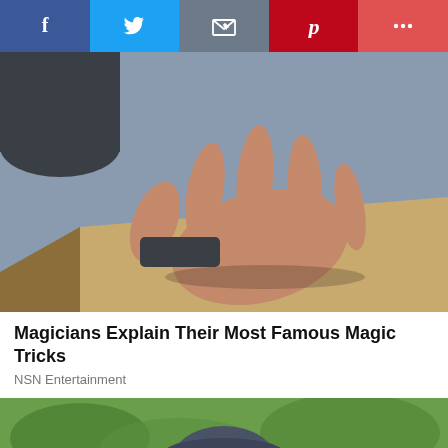[Figure (other): Social media share bar with Facebook, Twitter, Email, Pinterest, and More buttons]
[Figure (photo): Hands hovering over a wooden table, magician performing a trick against a blue-grey background]
Magicians Explain Their Most Famous Magic Tricks
NSN Entertainment
[Figure (photo): Partial view of a person outdoors, cropped at bottom of page]